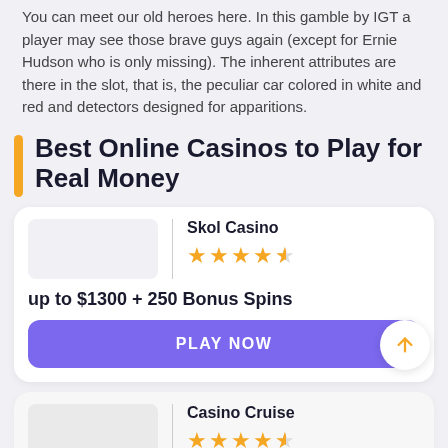You can meet our old heroes here. In this gamble by IGT a player may see those brave guys again (except for Ernie Hudson who is only missing). The inherent attributes are there in the slot, that is, the peculiar car colored in white and red and detectors designed for apparitions.
Best Online Casinos to Play for Real Money
| Casino | Rating | Bonus |
| --- | --- | --- |
| Skol Casino | 4.5 stars | up to $1300 + 250 Bonus Spins |
| Casino Cruise | 4.5 stars |  |